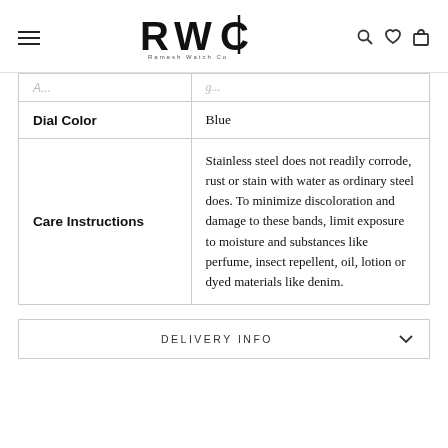RWC Ramesh Watch Co
|  |  |
| --- | --- |
| Dial Color | Blue |
| Care Instructions | Stainless steel does not readily corrode, rust or stain with water as ordinary steel does. To minimize discoloration and damage to these bands, limit exposure to moisture and substances like perfume, insect repellent, oil, lotion or dyed materials like denim. |
DELIVERY INFO